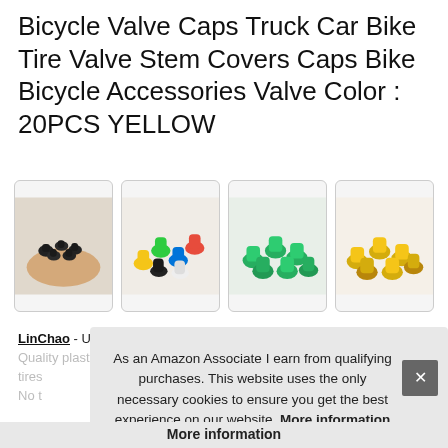Bicycle Valve Caps Truck Car Bike Tire Valve Stem Covers Caps Bike Bicycle Accessories Valve Color : 20PCS YELLOW
[Figure (photo): Four product images showing valve caps: black caps in a hand, multicolor caps assorted, green caps pile, yellow caps pile]
LinChao - Universal: fits cars, trucks, bikes with a standard valve stem. Quality plastic construction. Round shaped. tires No
As an Amazon Associate I earn from qualifying purchases. This website uses the only necessary cookies to ensure you get the best experience on our website. More information
More information